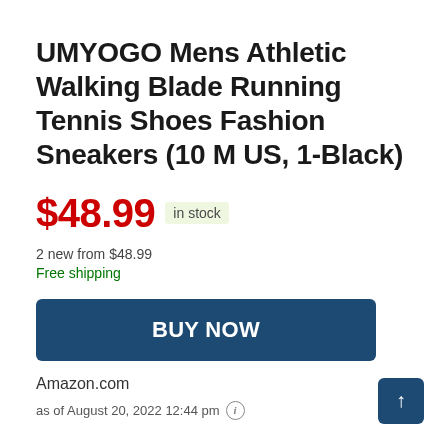UMYOGO Mens Athletic Walking Blade Running Tennis Shoes Fashion Sneakers (10 M US, 1-Black)
$48.99 in stock
2 new from $48.99
Free shipping
BUY NOW
Amazon.com
as of August 20, 2022 12:44 pm